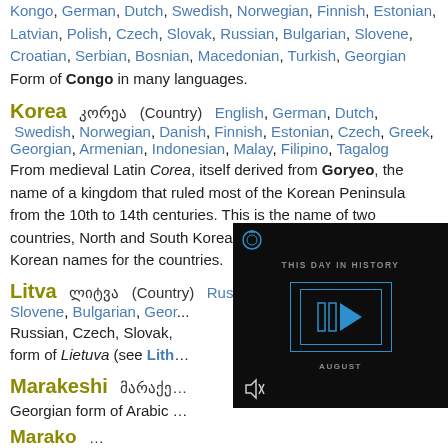Kongo, German, Dutch, Swedish, Norwegian, Finnish, Estonian, Latvian, Polish, Czech, Slovak, Russian, Bulgarian, Slovene, Croatian, Serbian, Bosnian, Macedonian, Turkish, Georgian Form of Congo in many languages.
Korea  კორეა  (Country)  English, German, Dutch, Swedish, Norwegian, Danish, Finnish, Estonian, Czech, Greek, Georgian, Armenian, Indonesian, Malay, Filipino, Tagalog
From medieval Latin Corea, itself derived from Goryeo, the name of a kingdom that ruled most of the Korean Peninsula from the 10th to 14th centuries. This is the name of two countries, North and South Korea. Hanguk and Joseon are the Korean names for the countries.
Litva  ლიტვა  (Country)  Russian, Czech, Slovak, Croatian, Slovene, Bulgarian, Georgian...
Russian, Czech, Slovak, ... form of Lietuva (see Lith...
Marakeshi  მარაქე...
Georgian form of Arabic ...
[Figure (screenshot): A video player overlay showing 'THIS DAY IN HISTORY' with a play button icon and an AUGUST label, displayed with a dark background. A mute icon is visible at the bottom left.]